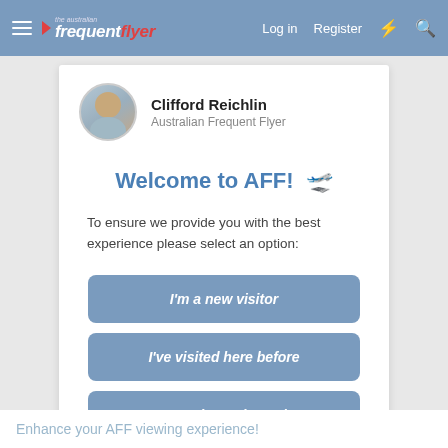The Australian Frequent Flyer — Log in   Register
Clifford Reichlin
Australian Frequent Flyer
Welcome to AFF! 🛫
To ensure we provide you with the best experience please select an option:
I'm a new visitor
I've visited here before
I'm a registered member
Enhance your AFF viewing experience!